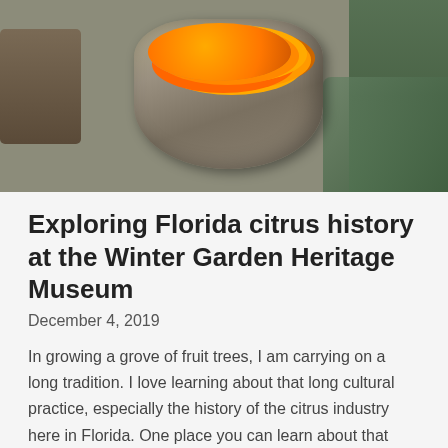[Figure (photo): A canvas picking bag filled with oranges, viewed from above, placed on a surface with other objects visible in the background including a green plant and glassware.]
Exploring Florida citrus history at the Winter Garden Heritage Museum
December 4, 2019
In growing a grove of fruit trees, I am carrying on a long tradition. I love learning about that long cultural practice, especially the history of the citrus industry here in Florida. One place you can learn about that citrus history is the Winter Garden Heritage Museum in Winter Garden, Florida (just west of Orlando).